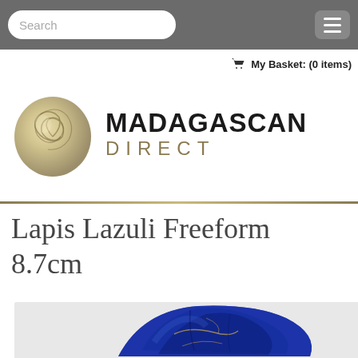Search | Menu
My Basket: (0 items)
[Figure (logo): Madagascan Direct logo with nautilus shell icon and text 'MADAGASCAN DIRECT']
Lapis Lazuli Freeform 8.7cm
[Figure (photo): Photo of a deep blue Lapis Lazuli freeform stone approximately 8.7cm, showing characteristic blue color with golden pyrite inclusions and natural surface texture]